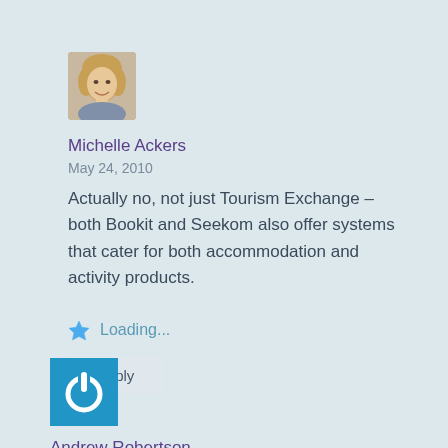[Figure (photo): Avatar photo of Michelle Ackers, a woman with shoulder-length blonde hair]
Michelle Ackers
May 24, 2010
Actually no, not just Tourism Exchange – both Bookit and Seekom also offer systems that cater for both accommodation and activity products.
Loading...
Reply
[Figure (logo): Blue square icon with a power/user symbol (circle with a notch at top)]
Andrew Robertson